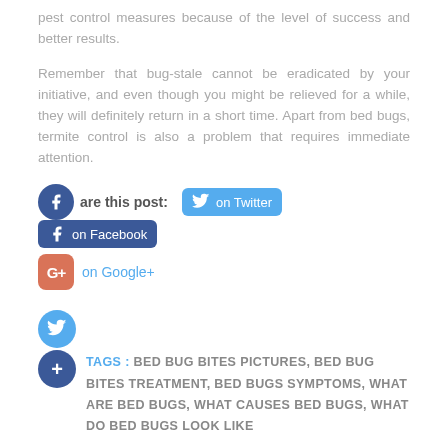pest control measures because of the level of success and better results.
Remember that bug-stale cannot be eradicated by your initiative, and even though you might be relieved for a while, they will definitely return in a short time. Apart from bed bugs, termite control is also a problem that requires immediate attention.
[Figure (infographic): Social sharing icons and links: Facebook circle icon with 'are this post:' label, Twitter blue rounded button 'on Twitter', Facebook blue rounded button 'on Facebook', Google+ salmon rounded square 'on Google+', standalone Twitter circle icon, red Google+ circle icon, blue plus circle icon]
TAGS : BED BUG BITES PICTURES, BED BUG BITES TREATMENT, BED BUGS SYMPTOMS, WHAT ARE BED BUGS, WHAT CAUSES BED BUGS, WHAT DO BED BUGS LOOK LIKE